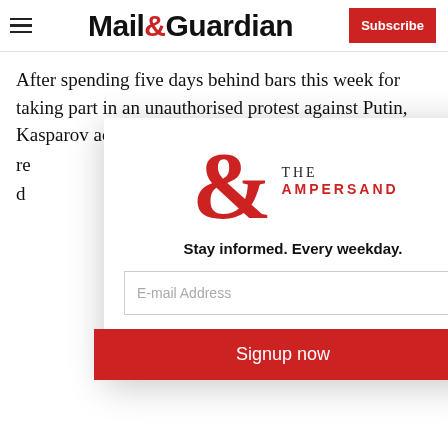Mail&Guardian | Subscribe
After spending five days behind bars this week for taking part in an unauthorised protest against Putin, Kasparov accused the 55-year-old president of re[truncated] d[truncated]
[Figure (logo): The Ampersand newsletter logo — large red ampersand with 'THE AMPERSAND' text]
Stay informed. Every weekday.
E-mail Address
Signup now